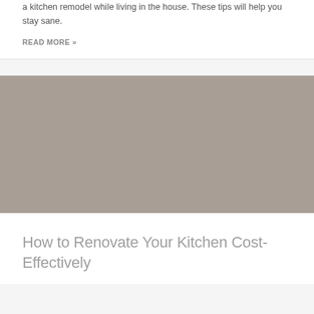a kitchen remodel while living in the house. These tips will help you stay sane.
READ MORE »
[Figure (photo): Gray/taupe colored rectangular image placeholder representing a kitchen renovation photo]
How to Renovate Your Kitchen Cost-Effectively